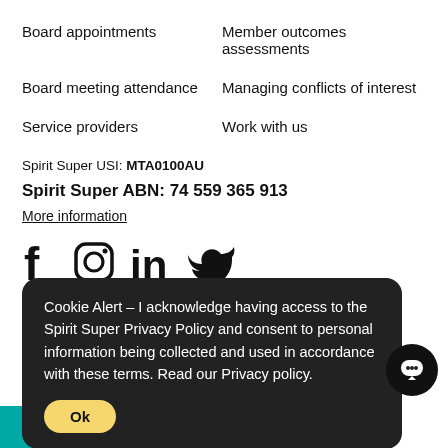Board appointments
Member outcomes assessments
Board meeting attendance
Managing conflicts of interest
Service providers
Work with us
Spirit Super USI: MTA0100AU
Spirit Super ABN: 74 559 365 913
More information
[Figure (infographic): Social media icons: Facebook, Instagram, LinkedIn, Twitter]
Cookie Alert - I acknowledge having access to the Spirit Super Privacy Policy and consent to personal information being collected and used in accordance with these terms. Read our Privacy policy.
Ok